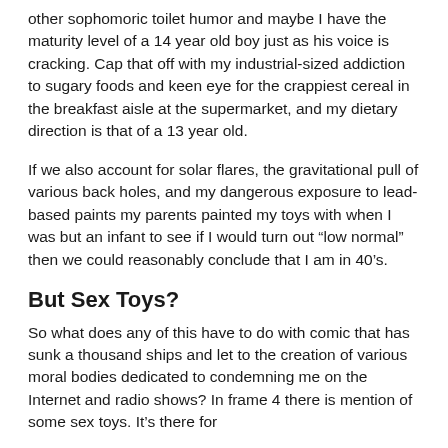other sophomoric toilet humor and maybe I have the maturity level of a 14 year old boy just as his voice is cracking. Cap that off with my industrial-sized addiction to sugary foods and keen eye for the crappiest cereal in the breakfast aisle at the supermarket, and my dietary direction is that of a 13 year old.
If we also account for solar flares, the gravitational pull of various back holes, and my dangerous exposure to lead-based paints my parents painted my toys with when I was but an infant to see if I would turn out “low normal” then we could reasonably conclude that I am in 40’s.
But Sex Toys?
So what does any of this have to do with comic that has sunk a thousand ships and let to the creation of various moral bodies dedicated to condemning me on the Internet and radio shows? In frame 4 there is mention of some sex toys. It’s there for